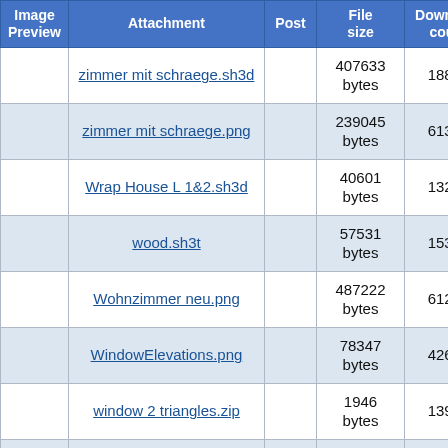| Image Preview | Attachment | Post | File size | Download count | D… |
| --- | --- | --- | --- | --- | --- |
|  | zimmer mit schraege.sh3d |  | 407633 bytes | 18807 |  |
|  | zimmer mit schraege.png |  | 239045 bytes | 61330 |  |
|  | Wrap House L 1&2.sh3d |  | 40601 bytes | 13259 |  |
|  | wood.sh3t |  | 57531 bytes | 15379 | lib… |
|  | Wohnzimmer neu.png |  | 487222 bytes | 61227 |  |
|  | WindowElevations.png |  | 78347 bytes | 42620 | w… e… |
|  | window 2 triangles.zip |  | 1946 bytes | 13914 |  |
|  | WheelChair.zip |  | 196555 | 15691 | W… |